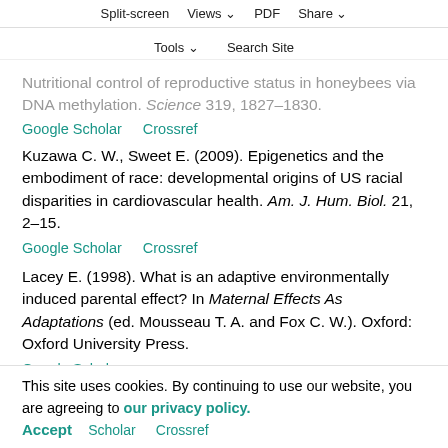Split-screen | Views | PDF | Share | Tools | Search Site
Nutritional control of reproductive status in honeybees via DNA methylation. Science 319, 1827–1830. Google Scholar  Crossref
Kuzawa C. W., Sweet E. (2009). Epigenetics and the embodiment of race: developmental origins of US racial disparities in cardiovascular health. Am. J. Hum. Biol. 21, 2–15.
Google Scholar  Crossref
Lacey E. (1998). What is an adaptive environmentally induced parental effect? In Maternal Effects As Adaptations (ed. Mousseau T. A. and Fox C. W.). Oxford: Oxford University Press.
Google Scholar
Lam I. K., Wang W. X. (2006). Transgenerational ...
This site uses cookies. By continuing to use our website, you are agreeing to our privacy policy.
Accept